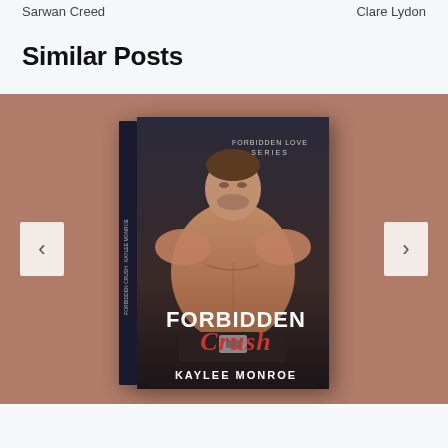Sarwan Creed    Clare Lydon
Similar Posts
[Figure (photo): Book cover for 'Forbidden Crush' by Kaylee Monroe. Features a shirtless muscular man with stubble on a dark background. Text on cover reads 'FORBIDDEN LOVE SERIES' at top, 'FORBIDDEN Crush' in the middle, and 'KAYLEE MONROE' at the bottom. The book is displayed in a 3D perspective against a mauve/brownish-pink carousel background with left and right navigation arrows.]